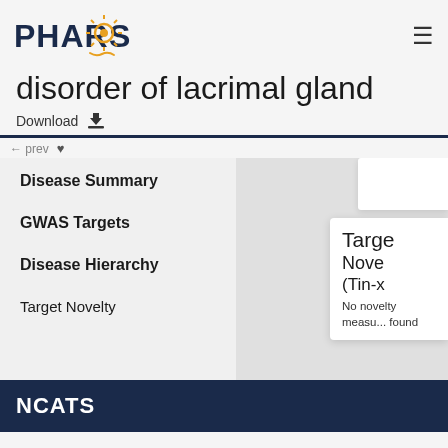PHAROS
disorder of lacrimal gland
Download
Disease Summary
GWAS Targets
Disease Hierarchy
Target Novelty
Target Novelty (Tin-x) No novelty measures found
NCATS